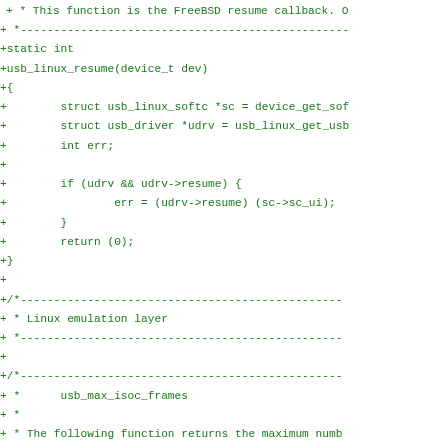Code diff showing FreeBSD USB Linux resume callback and usb_max_isoc_frames function definitions